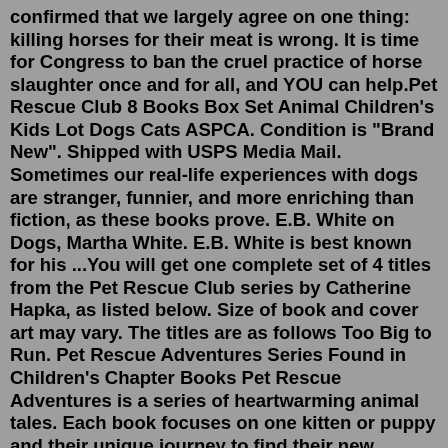confirmed that we largely agree on one thing: killing horses for their meat is wrong. It is time for Congress to ban the cruel practice of horse slaughter once and for all, and YOU can help.Pet Rescue Club 8 Books Box Set Animal Children's Kids Lot Dogs Cats ASPCA. Condition is "Brand New". Shipped with USPS Media Mail. Sometimes our real-life experiences with dogs are stranger, funnier, and more enriching than fiction, as these books prove. E.B. White on Dogs, Martha White. E.B. White is best known for his ...You will get one complete set of 4 titles from the Pet Rescue Club series by Catherine Hapka, as listed below. Size of book and cover art may vary. The titles are as follows Too Big to Run. Pet Rescue Adventures Series Found in Children's Chapter Books Pet Rescue Adventures is a series of heartwarming animal tales. Each book focuses on one kitten or puppy and their unique journey to find their new “forever home”. A wonderful collection of heartwarming tales, perfect for animal lovers! This is the ninth book in the Pet Rescue Club series. It h...